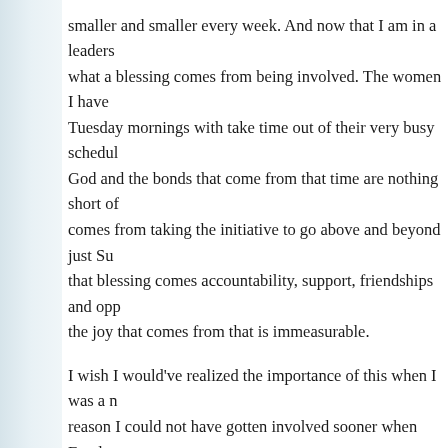smaller and smaller every week. And now that I am in a leadership role, what a blessing comes from being involved. The women I have Tuesday mornings with take time out of their very busy schedules for God and the bonds that come from that time are nothing short of miraculous. that blessing comes from taking the initiative to go above and beyond just Sunday. With that blessing comes accountability, support, friendships and opportunities and the joy that comes from that is immeasurable.

I wish I would've realized the importance of this when I was a new Christian. There is no reason I could not have gotten involved sooner when Emalynn was young but I didn't know that! But…my secret held me back. Think of what I could have missed if I had let all of those years I was hiding! While my days of being a pew-sitter are over, I still wonder…what is holding others back from the true blessings of the church?

I want to earnestly thank all of "my girls" for faithfully showing up week after week after rushing to beat the clock, hurdling the roadblocks that seem to always appear and dealing with all the crazy stuff it takes just to get there! It is no easy feet with busy schedules, responsibilities not to mention preparing a lesson before we meet. I love the time we spend together and the open, transparent hearts you all have. I lo